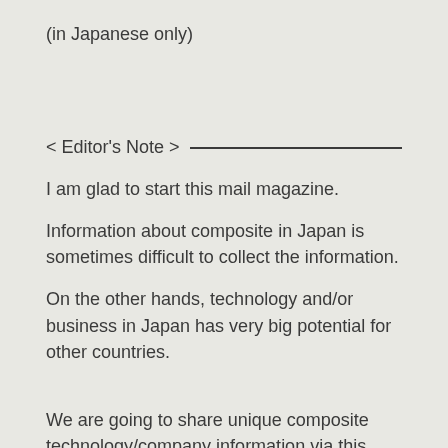(in Japanese only)
< Editor's Note >
I am glad to start this mail magazine.
Information about composite in Japan is sometimes difficult to collect the information.
On the other hands, technology and/or business in Japan has very big potential for other countries.
We are going to share unique composite technology/company information via this mail